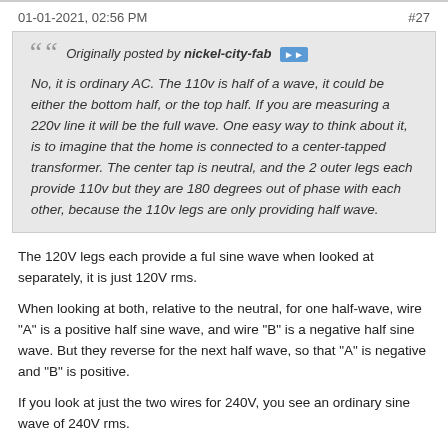01-01-2021, 02:56 PM   #27
Originally posted by nickel-city-fab

No, it is ordinary AC. The 110v is half of a wave, it could be either the bottom half, or the top half. If you are measuring a 220v line it will be the full wave. One easy way to think about it, is to imagine that the home is connected to a center-tapped transformer. The center tap is neutral, and the 2 outer legs each provide 110v but they are 180 degrees out of phase with each other, because the 110v legs are only providing half wave.
The 120V legs each provide a ful sine wave when looked at separately, it is just 120V rms.
When looking at both, relative to the neutral, for one half-wave, wire "A" is a positive half sine wave, and wire "B" is a negative half sine wave. But they reverse for the next half wave, so that "A" is negative and "B" is positive.
If you look at just the two wires for 240V, you see an ordinary sine wave of 240V rms.
No net DC. You cannot get DC through a transformer, you have to "reset the core" so the input has to have as many volt-seconds negative as positive. (volt-seconds are the product of the voltage times